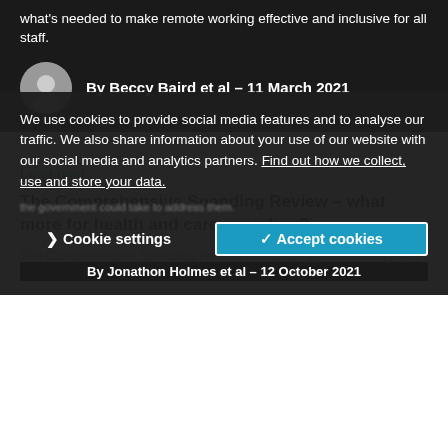what's needed to make remote working effective and inclusive for all staff.
By Beccy Baird et al – 11 March 2021
Long read
The Comprehensive Spending Review – what more for health and care spending?
The Comprehensive Spending Review details the government's plans for public spending over the coming years. This long read... consider steps the government could take to address them.
We use cookies to provide social media features and to analyse our traffic. We also share information about your use of our website with our social media and analytics partners. Find out how we collect, use and store your data.
Cookie settings   ✓ Accept cookies
By Jonathon Holmes et al – 12 October 2021